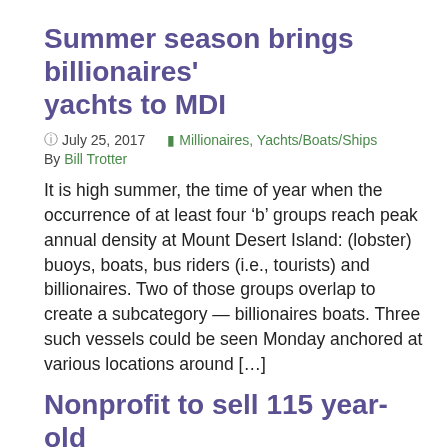Summer season brings billionaires' yachts to MDI
July 25, 2017    Millionaires, Yachts/Boats/Ships
By Bill Trotter
It is high summer, the time of year when the occurrence of at least four 'b' groups reach peak annual density at Mount Desert Island: (lobster) buoys, boats, bus riders (i.e., tourists) and billionaires. Two of those groups overlap to create a subcategory — billionaires boats. Three such vessels could be seen Monday anchored at various locations around […]
Nonprofit to sell 115 year-old waterfront mansion in Bar Harbor